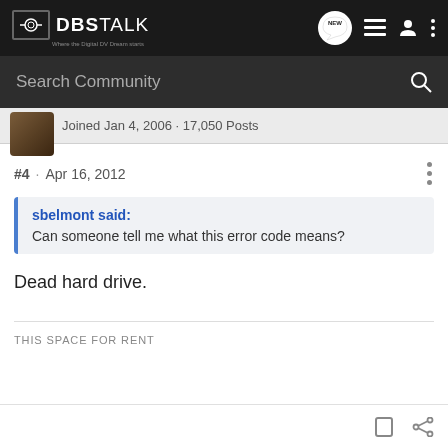DBSTALK — Where the Digital DV Dream starts
Search Community
Joined Jan 4, 2006 · 17,050 Posts
#4 · Apr 16, 2012
sbelmont said:
Can someone tell me what this error code means?
Dead hard drive.
THIS SPACE FOR RENT